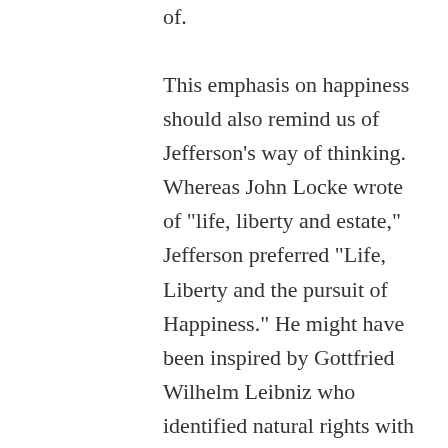of.
This emphasis on happiness should also remind us of Jefferson’s way of thinking. Whereas John Locke wrote of “life, liberty and estate,” Jefferson preferred “Life, Liberty and the pursuit of Happiness.” He might have been inspired by Gottfried Wilhelm Leibniz who identified natural rights with happiness. In Jefferson’s worldview, happiness is essential to the consent of the governed in a free society. Bhutan takes this to a whole other level, not merely guaranteeing the private pursuit